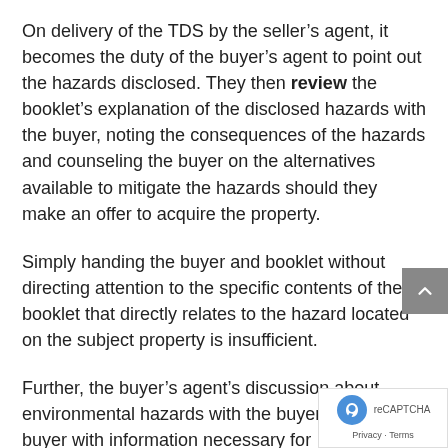On delivery of the TDS by the seller's agent, it becomes the duty of the buyer's agent to point out the hazards disclosed. They then review the booklet's explanation of the disclosed hazards with the buyer, noting the consequences of the hazards and counseling the buyer on the alternatives available to mitigate the hazards should they make an offer to acquire the property.
Simply handing the buyer and booklet without directing attention to the specific contents of the booklet that directly relates to the hazard located on the subject property is insufficient.
Further, the buyer's agent's discussion about environmental hazards with the buyer provides the buyer with information necessary for